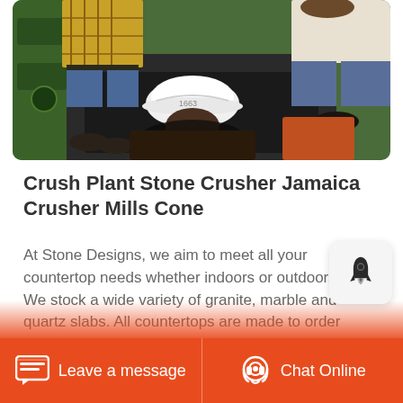[Figure (photo): Workers inspecting industrial stone crushing equipment; a white hard hat with marking '1663' is visible in the foreground, with green machine parts and workers' feet/legs visible around it.]
Crush Plant Stone Crusher Jamaica Crusher Mills Cone
At Stone Designs, we aim to meet all your countertop needs whether indoors or outdoors. We stock a wide variety of granite, marble and quartz slabs. All countertops are made to order and specifications taken on site visit. We adopt the phrase only the best is good enough as such we select from the worlds leading and trusted
Leave a message  Chat Online